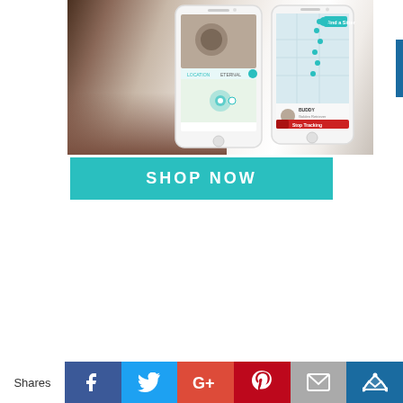[Figure (photo): A dog with white fur next to two smartphone screenshots showing a pet tracking app with map and location features, and a teal 'SHOP NOW' button below.]
SHOP NOW
Shares
[Figure (infographic): Social share bar with Facebook, Twitter, Google+, Pinterest, Email, and Kingsumo buttons]